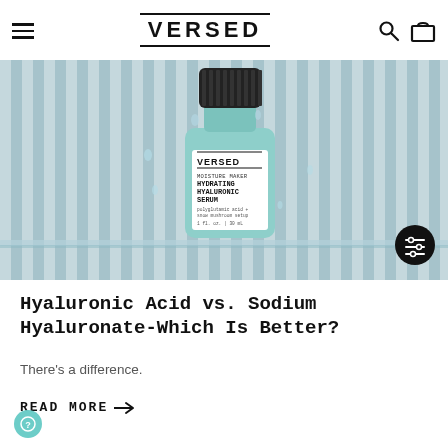VERSED
[Figure (photo): A Versed Moisture Maker Hydrating Hyaluronic Serum bottle (mint green, black cap) on a glass shelf with water droplets, striped glass background]
Hyaluronic Acid vs. Sodium Hyaluronate-Which Is Better?
There's a difference.
READ MORE →